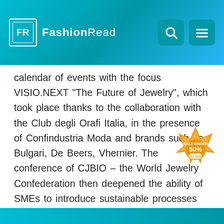FashionRead
calendar of events with the focus VISIO.NEXT "The Future of Jewelry", which took place thanks to the collaboration with the Club degli Orafi Italia, in the presence of Confindustria Moda and brands such as Bulgari, De Beers, Vhernier. The conference of CJBIO – the World Jewelry Confederation then deepened the ability of SMEs to introduce sustainable processes and procedures.
The role of the territory in the satisfaction of international buyers is central: the welcome the city of Vicenza paid to guests with VIOF Golden Factor", Vicenza Oro Fuori Fiera, an event created by the Municipality of Vicenza with IEG and with the involvement of the categories